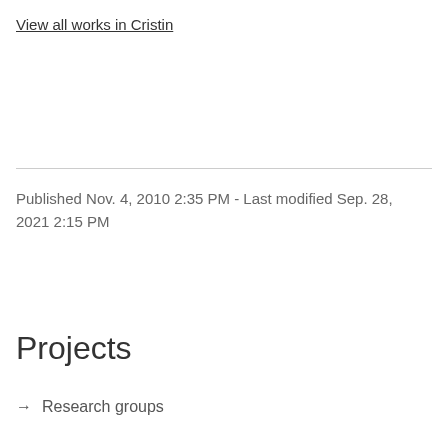View all works in Cristin
Published Nov. 4, 2010 2:35 PM - Last modified Sep. 28, 2021 2:15 PM
Projects
→ Research groups